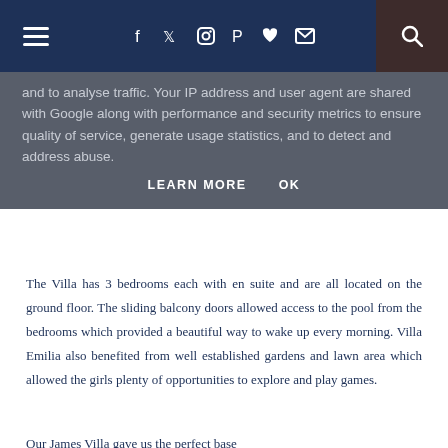≡  f  ✓  ⊙  P  ♥  ✉  🔍
and to analyse traffic. Your IP address and user agent are shared with Google along with performance and security metrics to ensure quality of service, generate usage statistics, and to detect and address abuse.
LEARN MORE   OK
The Villa has 3 bedrooms each with en suite and are all located on the ground floor.  The sliding balcony doors allowed access to the pool from the bedrooms which provided a beautiful way to wake up every morning.  Villa Emilia also benefited from well established gardens and lawn area which allowed the girls plenty of opportunities to explore and play games.
Our James Villa gave us the perfect base